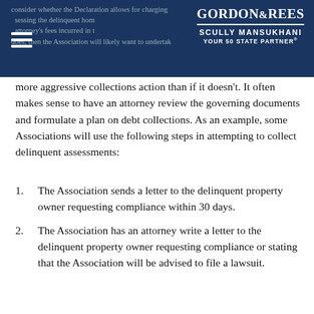Gordon & Rees Scully Mansukhani — Your 50 State Partner
consider whether the Declaration allows for charging assessing the delinquent homeowner for the attorney's fees incurred in the collection process. If it does, then the Association will likely want to undertake more aggressive collections action than if it doesn't. It often makes sense to have an attorney review the governing documents and formulate a plan on debt collections. As an example, some Associations will use the following steps in attempting to collect delinquent assessments:
The Association sends a letter to the delinquent property owner requesting compliance within 30 days.
The Association has an attorney write a letter to the delinquent property owner requesting compliance or stating that the Association will be advised to file a lawsuit.